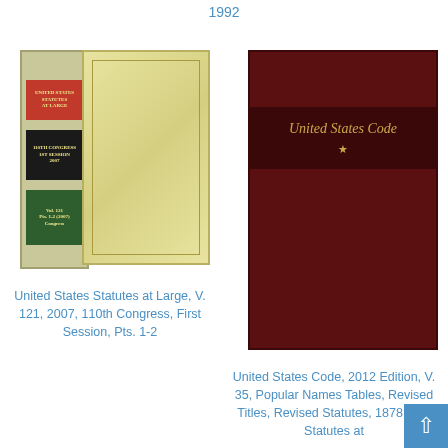1992
[Figure (photo): Photo of United States Statutes at Large volume 121 book, showing spine with red, black, and green labels and a plain cream/gold cover]
United States Statutes at Large, V. 121, 2007, 110th Congress, First Session, Pts. 1-2
[Figure (photo): Photo of United States Code book, 2012 edition, dark maroon cover with gold title text on dark band]
United States Code, 2012 Edition, V. 35, Popular Names Tables, Revised Titles, Revised Statutes, 1878, and Statutes at